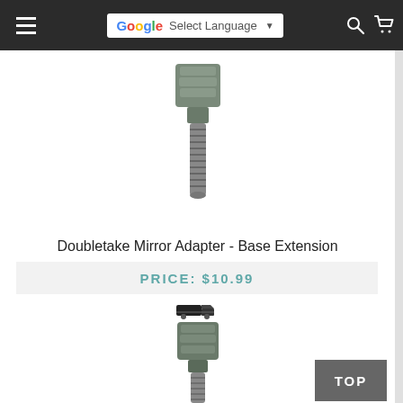Select Language
[Figure (photo): Metal bolt/adapter fitting - top portion with hex nut and threaded end (Doubletake Mirror Adapter - Base Extension)]
Doubletake Mirror Adapter - Base Extension
PRICE: $10.99
[Figure (photo): Small cart/add-to-cart icon]
[Figure (photo): Metal bolt/adapter fitting - bottom portion showing hex end and threaded stem (Doubletake Mirror Adapter - Base Extension, second view)]